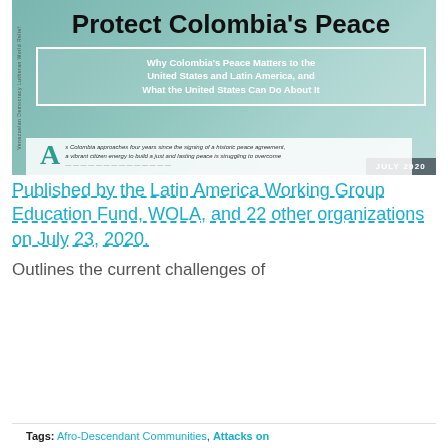[Figure (illustration): Banner image for 'Protect Colombia's Peace' report. Teal/green background with bold title, subtitle box reading 'Why Colombia's Peace Matters to the United States and Latin America, and What the United States Can Do About It', date label JULY 2020, and a drop-cap paragraph beginning 'As Colombia approaches four years since the signing of a historic peace agreement...']
Published by the Latin America Working Group Education Fund, WOLA, and 22 other organizations on July 23, 2020.
Outlines the current challenges of
Privacy & Cookies: This site uses cookies. By continuing to use this website, you agree to their use.
To find out more, including how to control cookies, see here: Cookie Policy
Close and accept
Tags: Afro-Descendant Communities, Attacks on